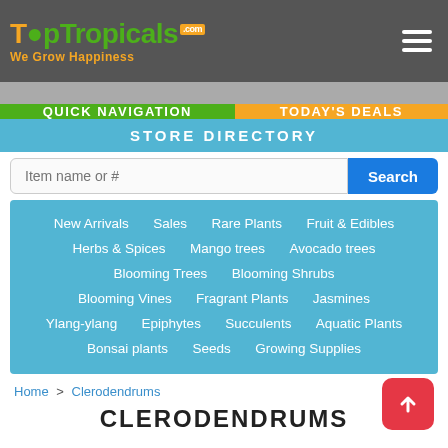TopTropicals.com - We Grow Happiness
QUICK NAVIGATION
TODAY'S DEALS
STORE DIRECTORY
New Arrivals
Sales
Rare Plants
Fruit & Edibles
Herbs & Spices
Mango trees
Avocado trees
Blooming Trees
Blooming Shrubs
Blooming Vines
Fragrant Plants
Jasmines
Ylang-ylang
Epiphytes
Succulents
Aquatic Plants
Bonsai plants
Seeds
Growing Supplies
Home > Clerodendrums
CLERODENDRUMS